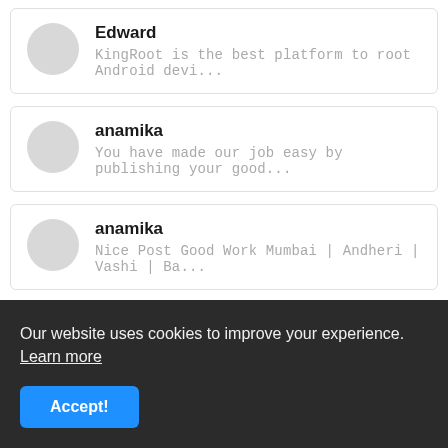Edward
KingRoot is the best platform to root Android devi...
anamika
You have made our job easy by publishing your good...
anamika
Nice Post Good Work Mumbai | Andheri | Vashi | Ba...
MAIN TAGS
CoinDCX (1)
COMPUTER TRICKS (30)
Coupon (3)
Our website uses cookies to improve your experience. Learn more
Accept!